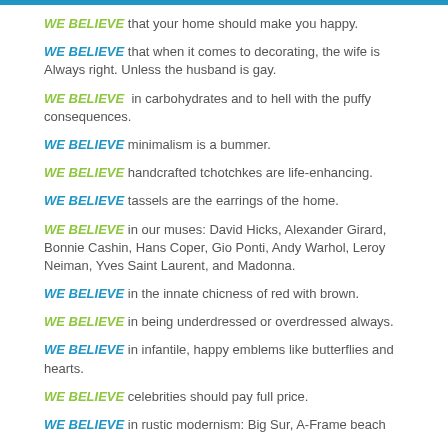WE BELIEVE that your home should make you happy.
WE BELIEVE that when it comes to decorating, the wife is Always right. Unless the husband is gay.
WE BELIEVE  in carbohydrates and to hell with the puffy consequences.
WE BELIEVE minimalism is a bummer.
WE BELIEVE handcrafted tchotchkes are life-enhancing.
WE BELIEVE tassels are the earrings of the home.
WE BELIEVE in our muses: David Hicks, Alexander Girard, Bonnie Cashin, Hans Coper, Gio Ponti, Andy Warhol, Leroy Neiman, Yves Saint Laurent, and Madonna.
WE BELIEVE in the innate chicness of red with brown.
WE BELIEVE in being underdressed or overdressed always.
WE BELIEVE in infantile, happy emblems like butterflies and hearts.
WE BELIEVE celebrities should pay full price.
WE BELIEVE in rustic modernism: Big Sur, A-Frame beach